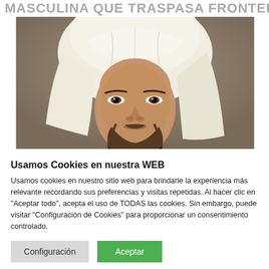MASCULINA QUE TRASPASA FRONTERAS
[Figure (photo): Portrait photo of a young man with dark beard wearing a white traditional Arab headdress (keffiyeh/ghutra), against a brownish-gray background. The photo is cropped to show head and upper shoulders.]
Usamos Cookies en nuestra WEB
Usamos cookies en nuestro sitio web para brindarle la experiencia más relevante recordando sus preferencias y visitas repetidas. Al hacer clic en "Aceptar todo", acepta el uso de TODAS las cookies. Sin embargo, puede visitar "Configuración de Cookies" para proporcionar un consentimiento controlado.
Configuración
Aceptar